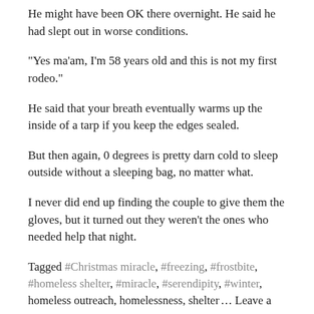He might have been OK there overnight. He said he had slept out in worse conditions.
“Yes ma’am, I’m 58 years old and this is not my first rodeo.”
He said that your breath eventually warms up the inside of a tarp if you keep the edges sealed.
But then again, 0 degrees is pretty darn cold to sleep outside without a sleeping bag, no matter what.
I never did end up finding the couple to give them the gloves, but it turned out they weren’t the ones who needed help that night.
Tagged #Christmas miracle, #freezing, #frostbite, #homeless shelter, #miracle, #serendipity, #winter, homeless outreach, homelessness, shelter... Leave a